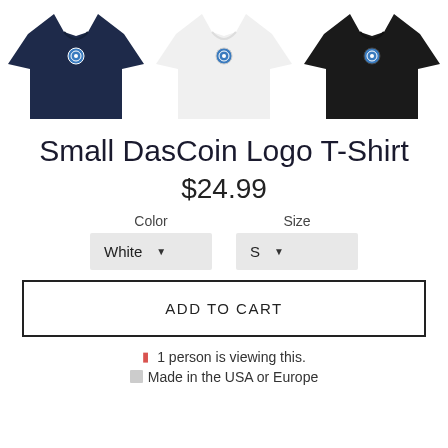[Figure (photo): Three t-shirts displayed side by side: navy blue on left, white in center, black on right. Each has a small DasCoin logo on the chest.]
Small DasCoin Logo T-Shirt
$24.99
Color   White ▼     Size   S ▼
ADD TO CART
🔴 1 person is viewing this.
🏁 Made in the USA or Europe